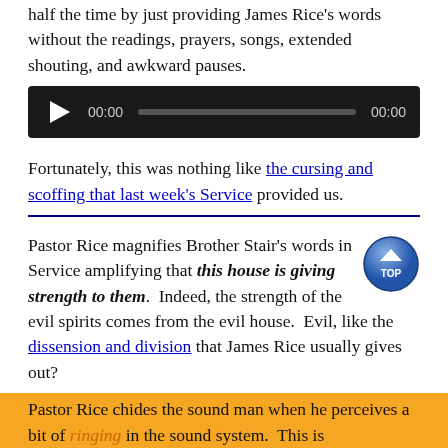half the time by just providing James Rice's words without the readings, prayers, songs, extended shouting, and awkward pauses.
[Figure (screenshot): Audio player widget with dark background, play button, time stamp 00:00, seek bar, and end time 00:00]
Fortunately, this was nothing like the cursing and scoffing that last week's Service provided us.
Pastor Rice magnifies Brother Stair's words in Service amplifying that this house is giving strength to them. Indeed, the strength of the evil spirits comes from the evil house. Evil, like the dissension and division that James Rice usually gives out?
Pastor Rice chides the sound man when he perceives a bit of ringing in the sound system. This is